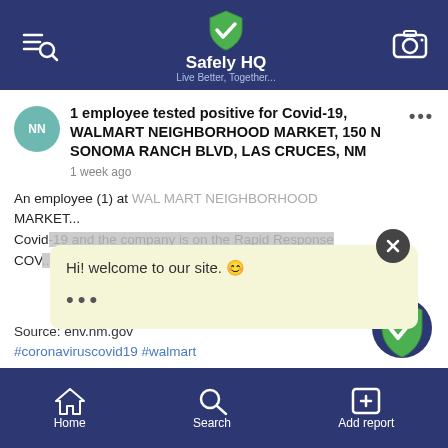Safely HQ - Live Better, Together...
1 employee tested positive for Covid-19, WALMART NEIGHBORHOOD MARKET, 150 N SONOMA RANCH BLVD, LAS CRUCES, NM
1 week ago
An employee (1) at WALMART NEIGHBORHOOD MARKET... Covid-19 and the company is on the Rapid Response COV...
Hi! welcome to our site. 😊
Source: env.nm.gov
#coronaviruscovid19 #walmart
Home  Search  Add report